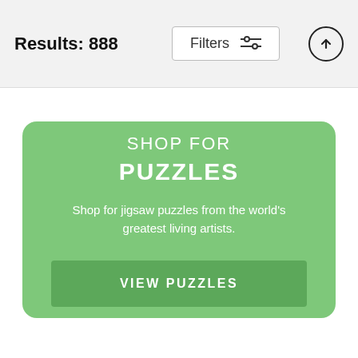Results: 888
SHOP FOR PUZZLES
Shop for jigsaw puzzles from the world's greatest living artists.
VIEW PUZZLES